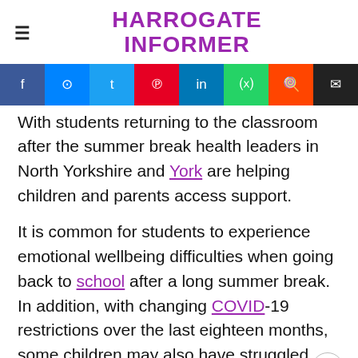HARROGATE INFORMER
[Figure (other): Social sharing buttons bar: Facebook, Messenger, Twitter, Pinterest, LinkedIn, WhatsApp, Reddit, Email]
With students returning to the classroom after the summer break health leaders in North Yorkshire and York are helping children and parents access support.
It is common for students to experience emotional wellbeing difficulties when going back to school after a long summer break. In addition, with changing COVID-19 restrictions over the last eighteen months, some children may also have struggled with